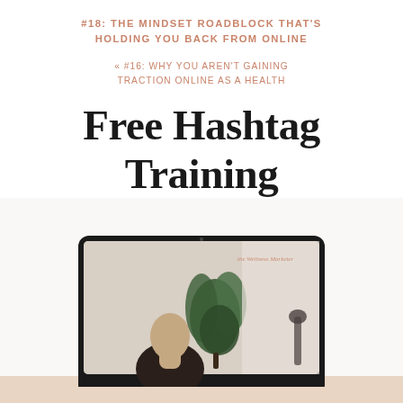#18: THE MINDSET ROADBLOCK THAT'S HOLDING YOU BACK FROM ONLINE
« #16: WHY YOU AREN'T GAINING TRACTION ONLINE AS A HEALTH
Free Hashtag Training
[Figure (photo): A laptop computer showing a woman with dark hair near a plant, with 'the Wellness Marketer' branding visible on screen. Below the laptop is a beige/tan bar at the bottom of the page.]